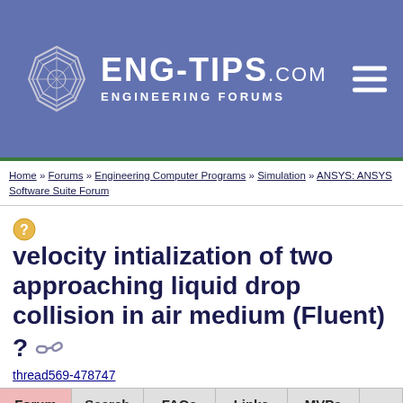ENG-TIPS.COM ENGINEERING FORUMS
Home » Forums » Engineering Computer Programs » Simulation » ANSYS: ANSYS Software Suite Forum
velocity intialization of two approaching liquid drop collision in air medium (Fluent) ?
thread569-478747
| Forum | Search | FAQs | Links | MVPs |
| --- | --- | --- | --- | --- |